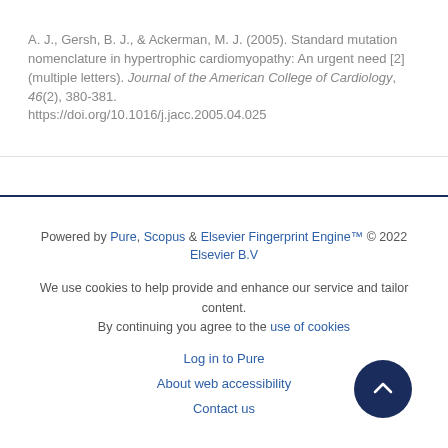A. J., Gersh, B. J., & Ackerman, M. J. (2005). Standard mutation nomenclature in hypertrophic cardiomyopathy: An urgent need [2] (multiple letters). Journal of the American College of Cardiology, 46(2), 380-381. https://doi.org/10.1016/j.jacc.2005.04.025
Powered by Pure, Scopus & Elsevier Fingerprint Engine™ © 2022 Elsevier B.V
We use cookies to help provide and enhance our service and tailor content. By continuing you agree to the use of cookies
Log in to Pure
About web accessibility
Contact us